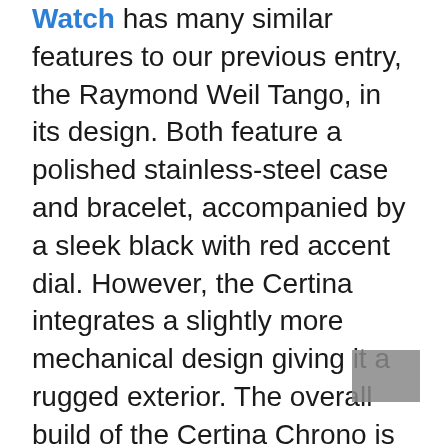Watch has many similar features to our previous entry, the Raymond Weil Tango, in its design. Both feature a polished stainless-steel case and bracelet, accompanied by a sleek black with red accent dial. However, the Certina integrates a slightly more mechanical design giving it a rugged exterior. The overall build of the Certina Chrono is also quite impressive with its use of top-notch materials and design such as a sapphire crystal window, gasket-specific reinforced chassis bottom, two O-ring seals in the crown, and an O-ring seal on the actuator shaft. This design is called the DS build and provides optimum protection from